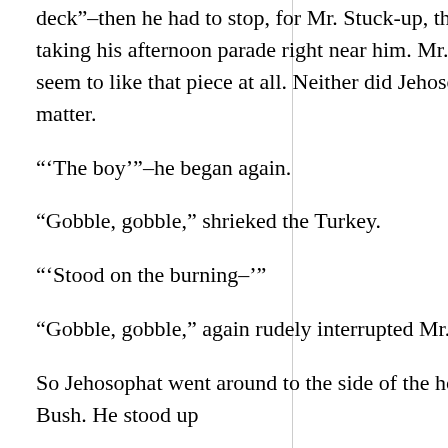deck”–then he had to stop, for Mr. Stuck-up, the Turkey, was taking his afternoon parade right near him. Mr. Stuckup didn’t seem to like that piece at all. Neither did Jehosophat, for that matter.
“‘The boy’”–he began again.
“Gobble, gobble,” shrieked the Turkey.
“‘Stood on the burning–’”
“Gobble, gobble,” again rudely interrupted Mr. Stuckup.
So Jehosophat went around to the side of the house by the Lilac Bush. He stood up